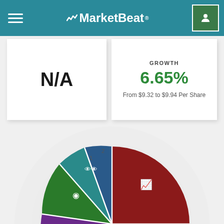MarketBeat
N/A
GROWTH
6.65%
From $9.32 to $9.94 Per Share
[Figure (pie-chart): MarketBeat score wheel with colored pie segments including dark red (growth/earnings icon), brown/tan (analytics icon), dark green (sustainability icon), black (financials icon), purple (info icon), green (dividend icon), teal/blue (analyst ratings icons) segments arranged in a circular chart with concentric ring background]